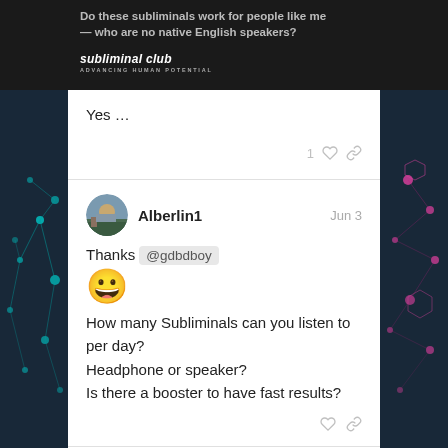Do these subliminals work for people like me — who are no native English speakers?
[Figure (logo): Subliminal Club logo with text 'subliminal club' and tagline 'ADVANCING HUMAN POTENTIAL']
Yes …
Alberlin1   Jun 3
Thanks @gdbdboy
How many Subliminals can you listen to per day?
Headphone or speaker?
Is there a booster to have fast results?
sid
3 / 27